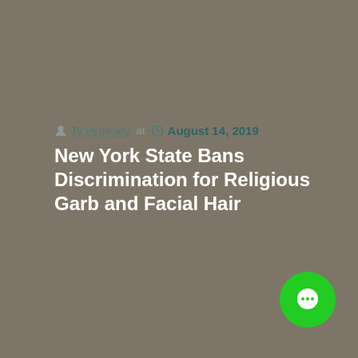Ty Hyderally at August 14, 2019
New York State Bans Discrimination for Religious Garb and Facial Hair
[Figure (illustration): Green circular chat bubble icon in lower right corner]